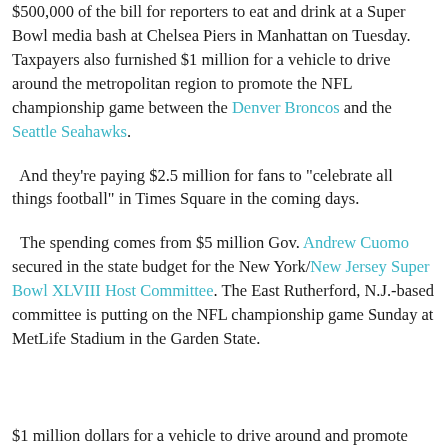$500,000 of the bill for reporters to eat and drink at a Super Bowl media bash at Chelsea Piers in Manhattan on Tuesday. Taxpayers also furnished $1 million for a vehicle to drive around the metropolitan region to promote the NFL championship game between the Denver Broncos and the Seattle Seahawks.
And they're paying $2.5 million for fans to "celebrate all things football" in Times Square in the coming days.
The spending comes from $5 million Gov. Andrew Cuomo secured in the state budget for the New York/New Jersey Super Bowl XLVIII Host Committee. The East Rutherford, N.J.-based committee is putting on the NFL championship game Sunday at MetLife Stadium in the Garden State.
$1 million dollars for a vehicle to drive around and promote